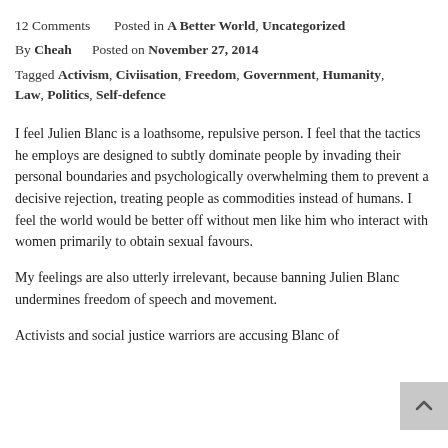12 Comments      Posted in A Better World, Uncategorized
By Cheah      Posted on November 27, 2014
Tagged Activism, Civilisation, Freedom, Government, Humanity, Law, Politics, Self-defence
I feel Julien Blanc is a loathsome, repulsive person. I feel that the tactics he employs are designed to subtly dominate people by invading their personal boundaries and psychologically overwhelming them to prevent a decisive rejection, treating people as commodities instead of humans. I feel the world would be better off without men like him who interact with women primarily to obtain sexual favours.
My feelings are also utterly irrelevant, because banning Julien Blanc undermines freedom of speech and movement.
Activists and social justice warriors are accusing Blanc of